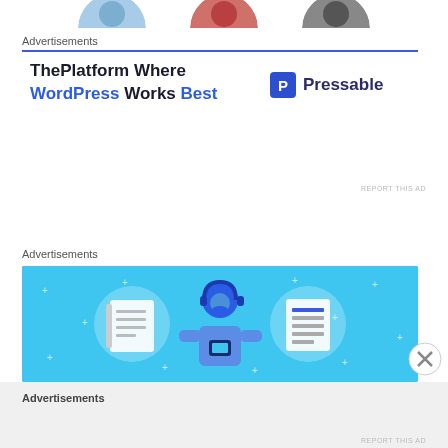[Figure (illustration): Cropped tops of three circular avatar images at top of page]
Advertisements
ThePlatform Where WordPress Works Best
[Figure (logo): Pressable logo with P icon and Pressable text]
REPORT THIS AD
Advertisements
[Figure (illustration): Blue banner advertisement showing a cartoon person holding a phone, flanked by two circular icons with notebook and list graphics, with sparkle decorations on a sky blue background]
Advertisements
REPORT THIS AD